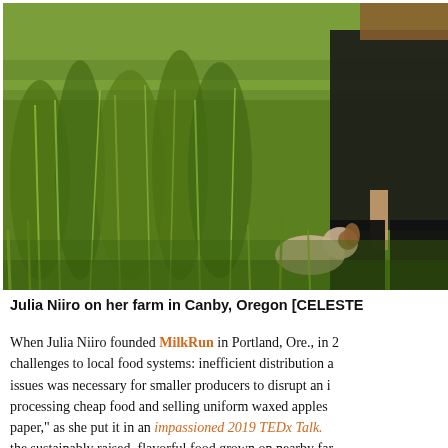[Figure (photo): A woman in a dark flannel shirt and black pants standing in a lush green field with tall grass. A small dog (appears to be a Jack Russell terrier) is sniffing the grass nearby. The scene is on a farm in Canby, Oregon.]
Julia Niiro on her farm in Canby, Oregon [CELESTE...
When Julia Niiro founded MilkRun in Portland, Ore., in 2... challenges to local food systems: inefficient distribution a... issues was necessary for smaller producers to disrupt an i... processing cheap food and selling uniform waxed apples ... paper," as she put it in an impassioned 2019 TEDx Talk. ... the sustainably raised, flavorful food grown on nearby far...